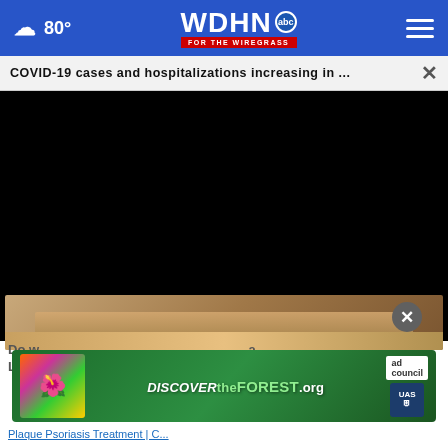WDHN ABC FOR THE WIREGRASS — 80°
COVID-19 cases and hospitalizations increasing in ...
[Figure (screenshot): Black video player area with playback controls (play button, mute button, fullscreen button) at bottom on dark overlay bar]
[Figure (photo): Thumbnail image showing feet/toes on a wooden floor surface, partially visible at bottom of video player]
Do W... a
Loo...
[Figure (other): DISCOVER the FOREST .org advertisement banner with colorful flower graphic on left, ad council badge and US Forest Service shield on right]
Plaque Psoriasis Treatment | C...